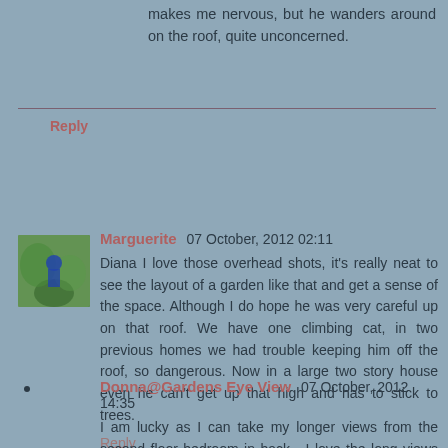makes me nervous, but he wanders around on the roof, quite unconcerned.
Reply
Marguerite 07 October, 2012 02:11
Diana I love those overhead shots, it's really neat to see the layout of a garden like that and get a sense of the space. Although I do hope he was very careful up on that roof. We have one climbing cat, in two previous homes we had trouble keeping him off the roof, so dangerous. Now in a large two story house even he can't get up that high and has to stick to trees.
Reply
Donna@Gardens Eye View 07 October, 2012 14:35
I am lucky as I can take my longer views from the second floor bedroom in back....I love the long views and especially